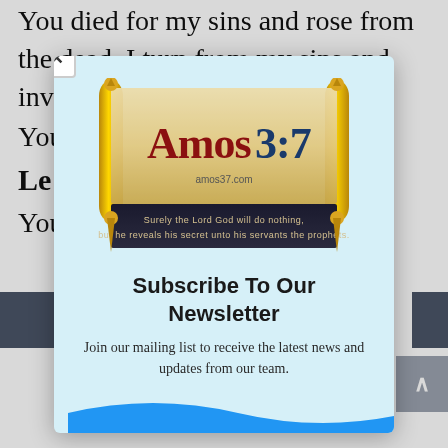You died for my sins and rose from the dead. I turn from my sins and invite You to come into my
You
Le
You
[Figure (logo): Amos 3:7 website logo featuring a scroll with 'Amos3:7' text in red and blue, with the verse 'Surely the Lord God will do nothing, but he reveals his secret unto his servants the prophets.' on a dark banner, with golden scroll ornaments on each side. amos37.com shown below the main title.]
Subscribe To Our Newsletter
Join our mailing list to receive the latest news and updates from our team.